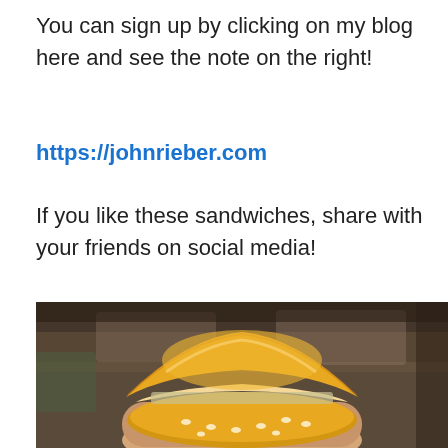You can sign up by clicking on my blog here and see the note on the right!
https://johnrieber.com
If you like these sandwiches, share with your friends on social media!
[Figure (photo): A hand holding a sandwich on a sesame seed bun, photographed in close-up with a blurred store background.]